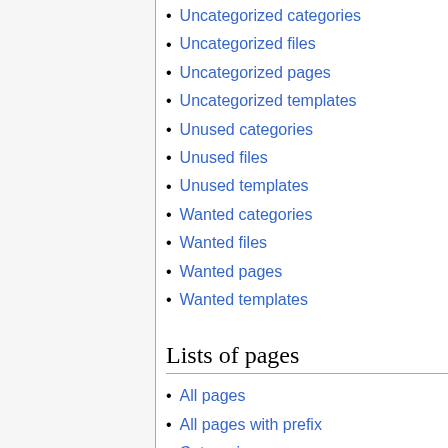Uncategorized categories
Uncategorized files
Uncategorized pages
Uncategorized templates
Unused categories
Unused files
Unused templates
Wanted categories
Wanted files
Wanted pages
Wanted templates
Lists of pages
All pages
All pages with prefix
Categories
Category tree
External links search